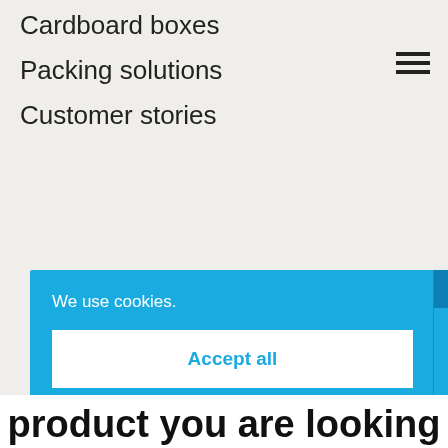Cardboard boxes
Packing solutions
Customer stories
[Figure (infographic): Hamburger menu icon (three horizontal lines)]
We use cookies.
Accept all
Deny all
Privacy settings
Cookies help us to improve the user-friendliness of our website. Decide for yourself how many cookies you would like us to accept. You can find more information on this in our privacy policy.
product you are looking